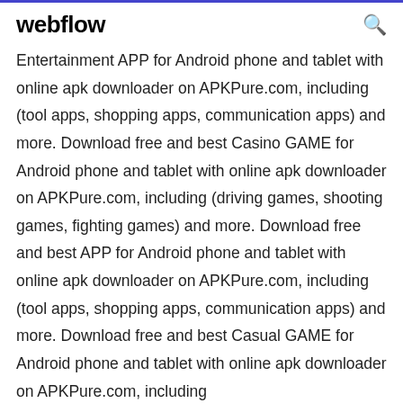webflow
Entertainment APP for Android phone and tablet with online apk downloader on APKPure.com, including (tool apps, shopping apps, communication apps) and more. Download free and best Casino GAME for Android phone and tablet with online apk downloader on APKPure.com, including (driving games, shooting games, fighting games) and more. Download free and best APP for Android phone and tablet with online apk downloader on APKPure.com, including (tool apps, shopping apps, communication apps) and more. Download free and best Casual GAME for Android phone and tablet with online apk downloader on APKPure.com, including